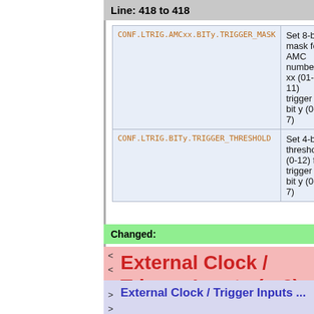Line: 418 to 418
| Command | Description |
| --- | --- |
| CONF.LTRIG.AMCxx.BITy.TRIGGER_MASK | Set 8-bit mask for AMC number xx (01-11) trigger bit y (0-7) |
| CONF.LTRIG.BITy.TRIGGER_THRESHOLD | Set 4-bit threshold (0-12) for trigger bit y (0-7) |
Changed:
< External Clock / Trigger Inputs (g-2)
> External Clock / Trigger Inputs ...